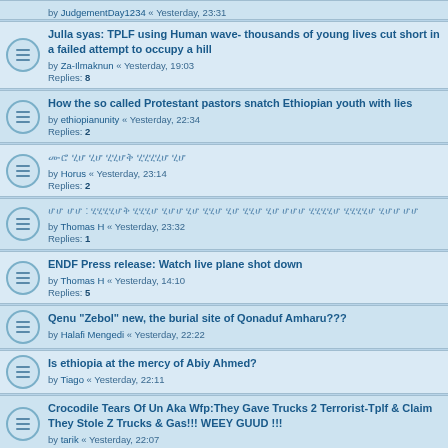by JudgementDay1234 « Yesterday, 23:31
Julla syas: TPLF using Human wave- thousands of young lives cut short in a failed attempt to occupy a hill
by Za-Ilmaknun « Yesterday, 19:03
Replies: 8
How the so called Protestant pastors snatch Ethiopian youth with lies
by ethiopianunity « Yesterday, 22:34
Replies: 2
[Ethiopic script title]
by Horus « Yesterday, 23:14
Replies: 2
[Ethiopic script title]
by Thomas H « Yesterday, 23:32
Replies: 1
ENDF Press release: Watch live plane shot down
by Thomas H « Yesterday, 14:10
Replies: 5
Qenu "Zebol" new, the burial site of Qonaduf Amharu???
by Halafi Mengedi « Yesterday, 22:22
Is ethiopia at the mercy of Abiy Ahmed?
by Tiago « Yesterday, 22:11
Crocodile Tears Of Un Aka Wfp:They Gave Trucks 2 Terrorist-Tplf & Claim They Stole Z Trucks & Gas!!! WEEY GUUD !!!
by tarik « Yesterday, 22:07
Selfies Has Began Flowing In
by quindibu « Yesterday, 10:46